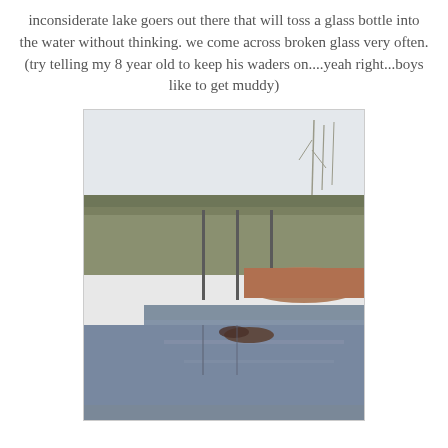inconsiderate lake goers out there that will toss a glass bottle into the water without thinking. we come across broken glass very often. (try telling my 8 year old to keep his waders on....yeah right...boys like to get muddy)
[Figure (photo): A creek or stream scene with rocky shoreline on the left, shallow murky water, bare deciduous trees in the background, and a grey overcast sky. Vertical posts or poles visible in the middle distance.]